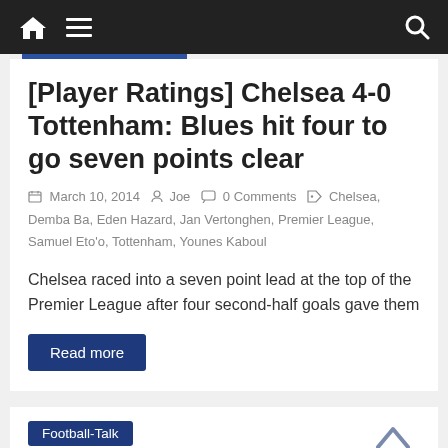Navigation bar with home, menu, and search icons
[Player Ratings] Chelsea 4-0 Tottenham: Blues hit four to go seven points clear
March 10, 2014 · Joe · 0 Comments · Chelsea, Demba Ba, Eden Hazard, Jan Vertonghen, Premier League, Samuel Eto'o, Tottenham, Younes Kaboul
Chelsea raced into a seven point lead at the top of the Premier League after four second-half goals gave them
Read more
Football-Talk
[Player Ratings] Fulham 1-3 Chelsea: